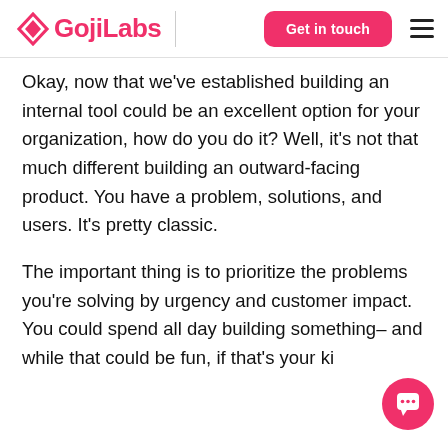GojiLabs | Get in touch
Okay, now that we've established building an internal tool could be an excellent option for your organization, how do you do it? Well, it's not that much different building an outward-facing product. You have a problem, solutions, and users. It's pretty classic.
The important thing is to prioritize the problems you're solving by urgency and customer impact. You could spend all day building something– and while that could be fun, if that's your ki…